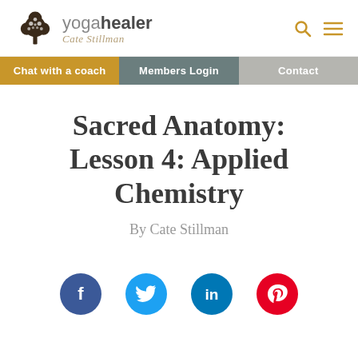[Figure (logo): Yoga Healer logo with tree illustration and 'yogahealer Cate Stillman' text, with search and menu icons on the right]
Chat with a coach | Members Login | Contact
Sacred Anatomy: Lesson 4: Applied Chemistry
By Cate Stillman
[Figure (infographic): Social media sharing icons row: Facebook (blue), Twitter (cyan), LinkedIn (blue), Pinterest (red)]